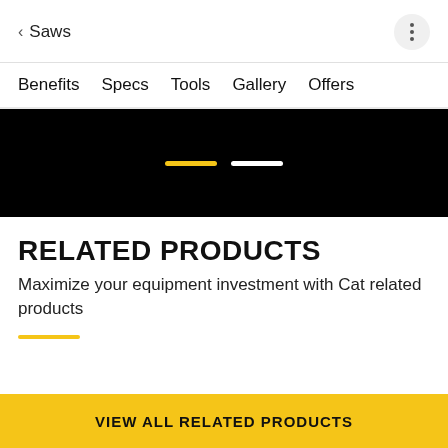< Saws
Benefits  Specs  Tools  Gallery  Offers
[Figure (other): Black banner with two horizontal indicator bars: one yellow (active) and one white (inactive), used as a carousel progress indicator.]
RELATED PRODUCTS
Maximize your equipment investment with Cat related products
VIEW ALL RELATED PRODUCTS